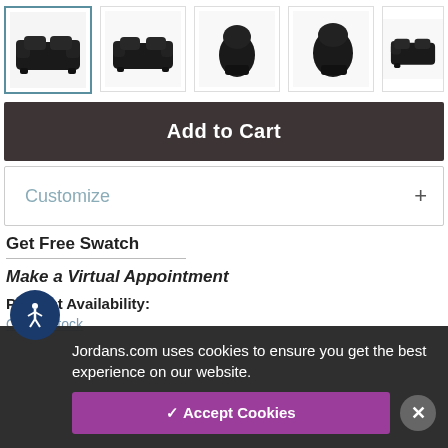[Figure (screenshot): Row of 5 product thumbnail images of a black leather recliner loveseat in various angles. First thumbnail is selected (highlighted border).]
Add to Cart
Customize +
Get Free Swatch
Make a Virtual Appointment
Product Availability:
Out of Stock
Jordans.com uses cookies to ensure you get the best experience on our website.
✓ Accept Cookies
×